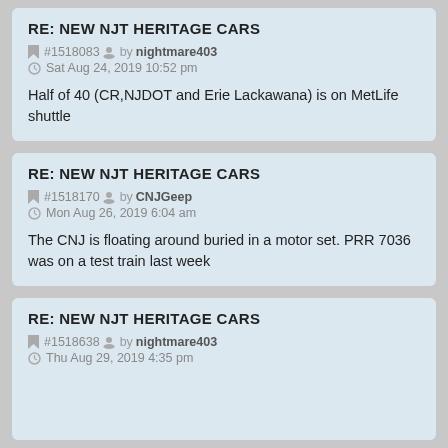RE: NEW NJT HERITAGE CARS
#1518083 by nightmare403
Sat Aug 24, 2019 10:52 pm
Half of 40 (CR,NJDOT and Erie Lackawana) is on MetLife shuttle
RE: NEW NJT HERITAGE CARS
#1518170 by CNJGeep
Mon Aug 26, 2019 6:04 am
The CNJ is floating around buried in a motor set. PRR 7036 was on a test train last week
RE: NEW NJT HERITAGE CARS
#1518638 by nightmare403
Thu Aug 29, 2019 4:35 pm